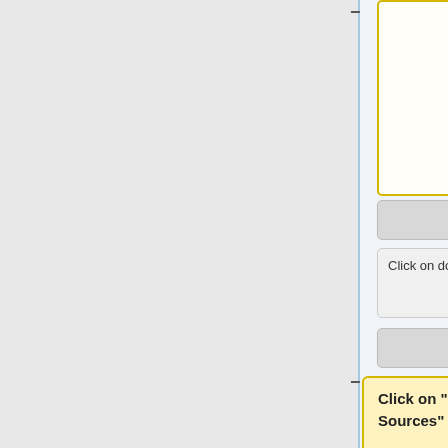[Figure (flowchart): Flowchart showing installation steps. Contains yellow-bordered box (cut off at top), blue callout boxes with instructions ('method to manual and then press the add button).', 'Make sure you have entered a valid DNS server'), grey placeholder boxes, text boxes ('Click on done when ready' x2), a yellow-filled box ('Click on "Installation Sources"'), and a blue callout ('"4. Installation Source setup"'), with connector lines and plus/minus symbols along a vertical spine.]